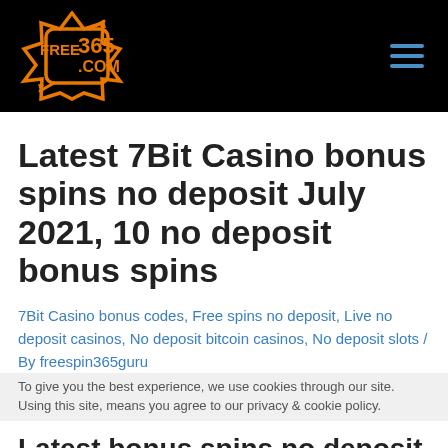FREE365.COM
Latest 7Bit Casino bonus spins no deposit July 2021, 10 no deposit bonus spins
7Bit Casino bonus codes, Free spins no deposit, Live no deposit casinos, No deposit bitcoin casinos, No deposit slots / By freespin365guru
To give you the best experience, we use cookies through our site. Using this site, means you agree to our privacy & cookie policy.
Latest bonus spins no deposit from